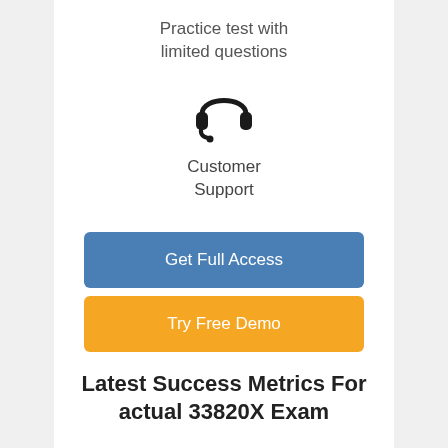Practice test with limited questions
[Figure (illustration): Headset / customer support icon]
Customer Support
Get Full Access
Try Free Demo
Latest Success Metrics For actual 33820X Exam
This is the best time to verify your skills and